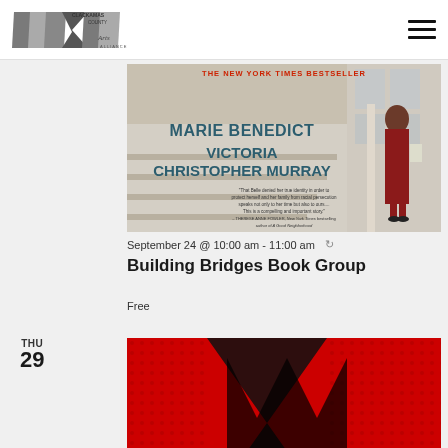Clackamas County Arts Alliance
[Figure (photo): Book cover for 'The Personal Librarian' by Marie Benedict and Victoria Christopher Murray, showing a woman in a red dress on stairs. Text reads 'THE NEW YORK TIMES BESTSELLER'. Quote from Therese Anne Fowler included.]
September 24 @ 10:00 am - 11:00 am
Building Bridges Book Group
Free
THU 29
[Figure (photo): Partial view of a red book cover with black graphic design elements.]